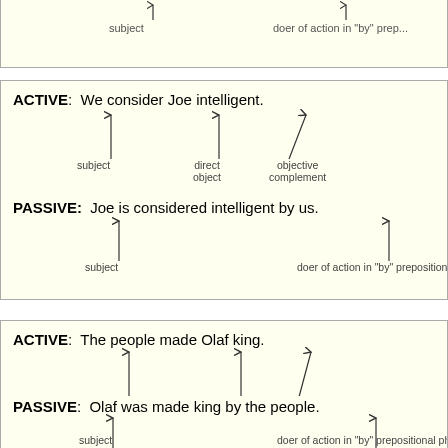[Figure (other): Top partial box showing active/passive diagram with 'subject' and 'doer of action in by prepositional phrase' labels with arrows (cropped at top)]
[Figure (other): Box showing ACTIVE: We consider Joe intelligent. with arrows to subject, direct object, objective complement. PASSIVE: Joe is considered intelligent by us. with arrows to subject and doer of action in by prepositional phrase.]
[Figure (other): Box showing ACTIVE: The people made Olaf king. with arrows to subject, direct object, objective complement. PASSIVE: Olaf was made king by the people. with arrows to subject and doer of action in by prepositional phrase.]